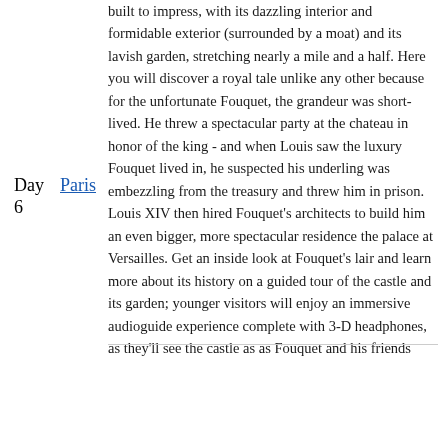built to impress, with its dazzling interior and formidable exterior (surrounded by a moat) and its lavish garden, stretching nearly a mile and a half. Here you will discover a royal tale unlike any other because for the unfortunate Fouquet, the grandeur was short-lived. He threw a spectacular party at the chateau in honor of the king - and when Louis saw the luxury Fouquet lived in, he suspected his underling was embezzling from the treasury and threw him in prison. Louis XIV then hired Fouquet's architects to build him an even bigger, more spectacular residence the palace at Versailles. Get an inside look at Fouquet's lair and learn more about its history on a guided tour of the castle and its garden; younger visitors will enjoy an immersive audioguide experience complete with 3-D headphones, as they'll see the castle as as Fouquet and his friends come alive around them, followed by a tour of the underground river, Styx. Enjoy Lunch at a restaurant on the grounds before returning to your Paris hotel for an evening spent as you please.
Day 6
Paris
g: Paris Marriott Champs Elysees Hotel
B, L
Fly to Rome